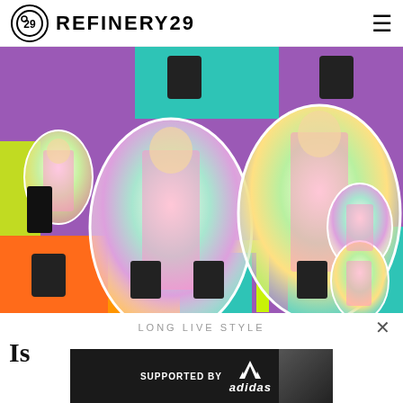REFINERY29
[Figure (photo): Fashion editorial image showing a model wearing a pink slip dress, repeated and arranged in a colorful collage on a purple, teal, and orange background with neon yellow rectangles. Multiple oval-framed images of the same model, plus black clothing items like sweatshirts and boots scattered around. Refinery29 x 8&9 fashion campaign imagery.]
LONG LIVE STYLE
Is
[Figure (infographic): Adidas advertisement banner reading SUPPORTED BY adidas, with an image of a person on the right side.]